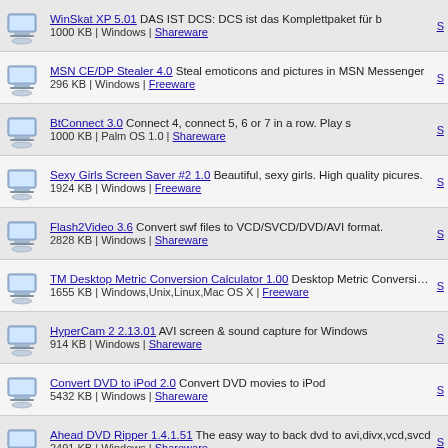WinSkat XP 5.01 DAS IST DCS: DCS ist das Komplettpaket für b | 1000 KB | Windows | Shareware
MSN CE/DP Stealer 4.0 Steal emoticons and pictures in MSN Messenger | 296 KB | Windows | Freeware
BtConnect 3.0 Connect 4, connect 5, 6 or 7 in a row. Play s | 1000 KB | Palm OS 1.0 | Shareware
Sexy Girls Screen Saver #2 1.0 Beautiful, sexy girls. High quality picures. | 1924 KB | Windows | Freeware
Flash2Video 3.6 Convert swf files to VCD/SVCD/DVD/AVI format. | 2828 KB | Windows | Shareware
TM Desktop Metric Conversion Calculator 1.00 Desktop Metric Conversion Calculations | 1655 KB | Windows,Unix,Linux,Mac OS X | Freeware
HyperCam 2 2.13.01 AVI screen & sound capture for Windows | 914 KB | Windows | Shareware
Convert DVD to iPod 2.0 Convert DVD movies to iPod | 5432 KB | Windows | Shareware
Ahead DVD Ripper 1.4.1.51 The easy way to back dvd to avi,divx,vcd,svcd | 2491 KB | Windows | Shareware
MSN Track Monitor 3.55 A MSN spy utility to capture MSN chat message | 917 KB | Windows | Shareware
Pop-Up Stopper Professional 1.80.1000 Block Ads in ALL Browsers, even FireFox | 1000 KB | Windows | Shareware
Astrology Prophet v2.1.1 Astrology Prophet is the program, which work | 1000 KB | Windows | Shareware
WinSchafkopf XP Sie haben Lust auf eine Partie Schafkopf, doc